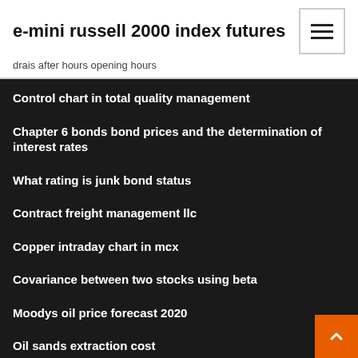e-mini russell 2000 index futures
drais after hours opening hours
Control chart in total quality management
Chapter 6 bonds bond prices and the determination of interest rates
What rating is junk bond status
Contract freight management llc
Copper intraday chart in mcx
Covariance between two stocks using beta
Moodys oil price forecast 2020
Oil sands extraction cost
Frequency tables maths is fun